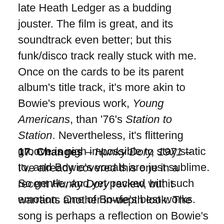late Heath Ledger as a budding jouster. The film is great, and its soundtrack even better; but this funk/disco track really stuck with me. Once on the cards to be its parent album's title track, it's more akin to Bowie's previous work, Young Americans, than '76's Station to Station. Nevertheless, it's flittering groove is nigh impossible to stay static to, and Bowie's vocals are just sublime. So gentle, and yet packed with such emotion. One of Bowie's best works.
17. Changes – Hunky Dory, 1971 – I've already covered this one in a recent Hunky Dory review, but it warrants another in-depth look. The song is perhaps a reflection on Bowie's own life; of how it changes, and changes us. It's hardly a secret Bowie felt the need to re-evaluate